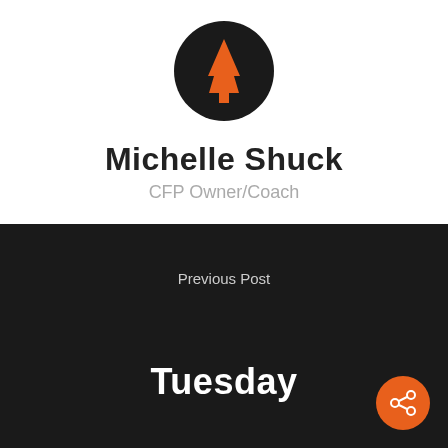[Figure (logo): Black circle with orange pine tree icon]
Michelle Shuck
CFP Owner/Coach
Previous Post
Tuesday
[Figure (logo): Shield outline with orange pine tree icon inside]
[Figure (illustration): Orange circle button with share/network icon]